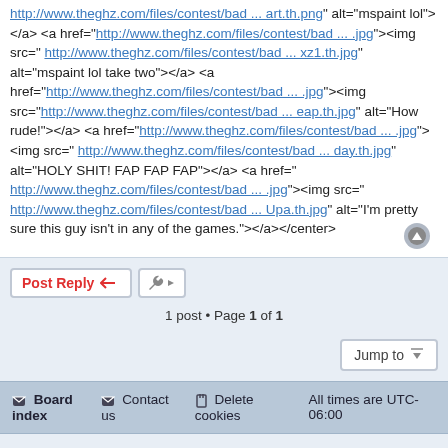http://www.theghz.com/files/contest/bad ... art.th.png" alt="mspaint lol"> </a> <a href="http://www.theghz.com/files/contest/bad ... .jpg"><img src="http://www.theghz.com/files/contest/bad ... xz1.th.jpg" alt="mspaint lol take two"></a> <a href="http://www.theghz.com/files/contest/bad ... .jpg"><img src="http://www.theghz.com/files/contest/bad ... eap.th.jpg" alt="How rude!"></a> <a href="http://www.theghz.com/files/contest/bad ... .jpg"><img src="http://www.theghz.com/files/contest/bad ... day.th.jpg" alt="HOLY SHIT! FAP FAP FAP"></a> <a href="http://www.theghz.com/files/contest/bad ... .jpg"><img src="http://www.theghz.com/files/contest/bad ... Upa.th.jpg" alt="I'm pretty sure this guy isn't in any of the games."></a></center>
Post Reply
1 post • Page 1 of 1
Jump to
Board index   Contact us   Delete cookies   All times are UTC-06:00
Powered by phpBB® Forum Software © phpBB Limited   Privacy | Terms